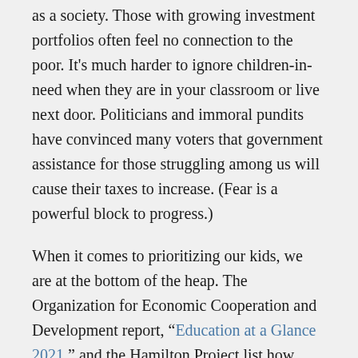as a society. Those with growing investment portfolios often feel no connection to the poor. It's much harder to ignore children-in-need when they are in your classroom or live next door. Politicians and immoral pundits have convinced many voters that government assistance for those struggling among us will cause their taxes to increase. (Fear is a powerful block to progress.)
When it comes to prioritizing our kids, we are at the bottom of the heap. The Organization for Economic Cooperation and Development report, “Education at a Glance 2021,” and the Hamilton Project list how much countries spend per year per child on childcare and programs for youngsters in the first few years of their lives.
Norway: $29,726